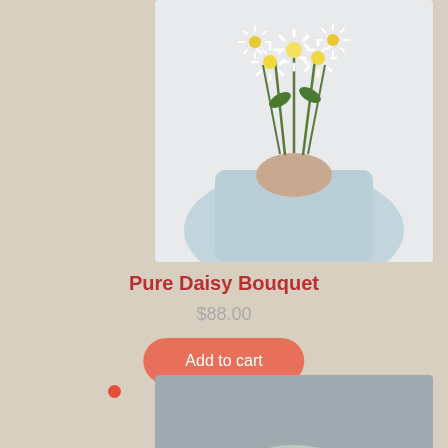[Figure (photo): Person in light blue dress holding a bouquet of white daisy flowers against a light background]
Pure Daisy Bouquet
$88.00
Add to cart
[Figure (photo): Close-up of a floral bouquet featuring lavender and cream-colored dried flowers wrapped in light green paper]